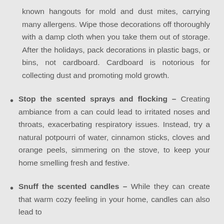known hangouts for mold and dust mites, carrying many allergens. Wipe those decorations off thoroughly with a damp cloth when you take them out of storage. After the holidays, pack decorations in plastic bags, or bins, not cardboard. Cardboard is notorious for collecting dust and promoting mold growth.
Stop the scented sprays and flocking – Creating ambiance from a can could lead to irritated noses and throats, exacerbating respiratory issues. Instead, try a natural potpourri of water, cinnamon sticks, cloves and orange peels, simmering on the stove, to keep your home smelling fresh and festive.
Snuff the scented candles – While they can create that warm cozy feeling in your home, candles can also lead to